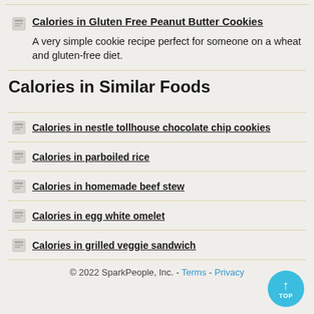Calories in Gluten Free Peanut Butter Cookies — A very simple cookie recipe perfect for someone on a wheat and gluten-free diet.
Calories in Similar Foods
Calories in nestle tollhouse chocolate chip cookies
Calories in parboiled rice
Calories in homemade beef stew
Calories in egg white omelet
Calories in grilled veggie sandwich
© 2022 SparkPeople, Inc. - Terms - Privacy